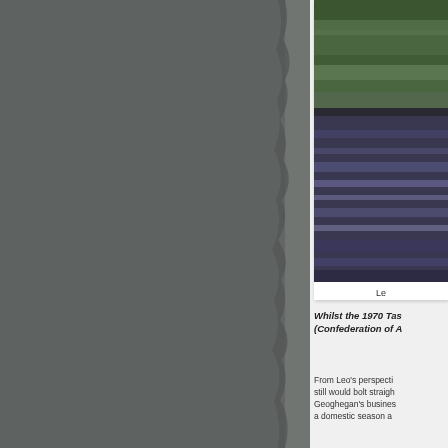[Figure (photo): Left portion of page showing a torn grey/dark panel, partially obscuring content]
[Figure (photo): Photograph showing a racing car on a track with grass verge visible, motion blur on car/track]
Le
Whilst the 1970 Tas (Confederation of A
From Leo's perspecti still would bolt straigh Geoghegan's busines a domestic season a